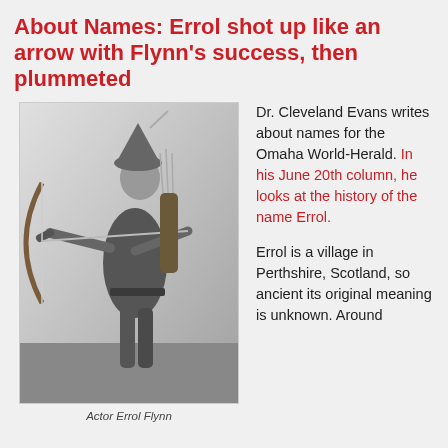About Names: Errol shot up like an arrow with Flynn's success, then plummeted
[Figure (photo): Black and white photo of actor Errol Flynn dressed as Robin Hood, drawing a bow and arrow, with a quiver of arrows on his back.]
Actor Errol Flynn
Dr. Cleveland Evans writes about names for the Omaha World-Herald. In his June 20th column, he looks at the history of the name Errol.
Errol is a village in Perthshire, Scotland, so ancient its original meaning is unknown. Around